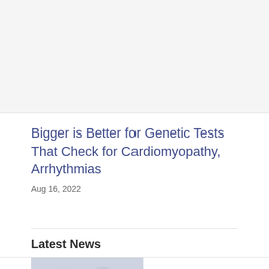[Figure (photo): Top article image area, appears cropped/partially visible, light gray background]
Bigger is Better for Genetic Tests That Check for Cardiomyopathy, Arrhythmias
Aug 16, 2022
Latest News
[Figure (photo): Thumbnail image showing circular/bubble shapes in muted blue-gray tones, likely microscopy or medical illustration]
Diabetes Drug Metformin Shows Potential Benefit in Large COVID-19 Trial